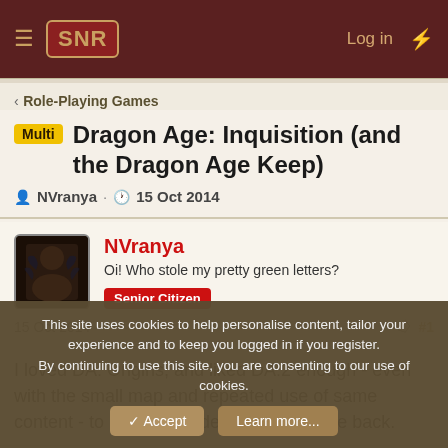SNR — Log in
< Role-Playing Games
Multi Dragon Age: Inquisition (and the Dragon Age Keep)
NVranya · 15 Oct 2014
NVranya — Oi! Who stole my pretty green letters? Senior Citizen
15 Oct 2014  #1
I loved DA: Origins, and liked DA:2 enough - even with the small map and repeated use of same content - to have pre ordered DA:I a while back.
This site uses cookies to help personalise content, tailor your experience and to keep you logged in if you register.
By continuing to use this site, you are consenting to our use of cookies.
Accept  Learn more...